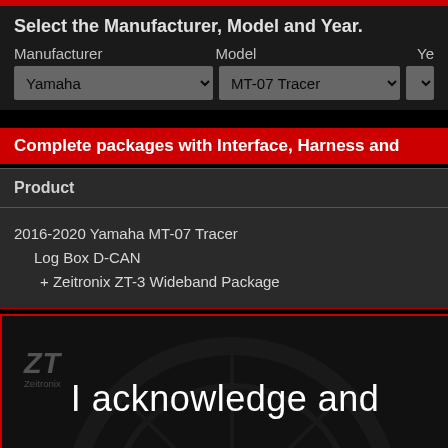Select the Manufacturer, Model and Year.
Manufacturer   Model   Ye
Yamaha [dropdown]   MT-07 Tracer [dropdown]   2[dropdown]
Complete packages with Interface, Harness and
| Product |
| --- |
| 2016-2020 Yamaha MT-07 Tracer
  Log Box D-CAN
  + Zeitronix ZT-3 Wideband Package |
[Figure (screenshot): Dark background with faint Zeitronix logo watermark and motorcycle wheel graphic]
I acknowledge and